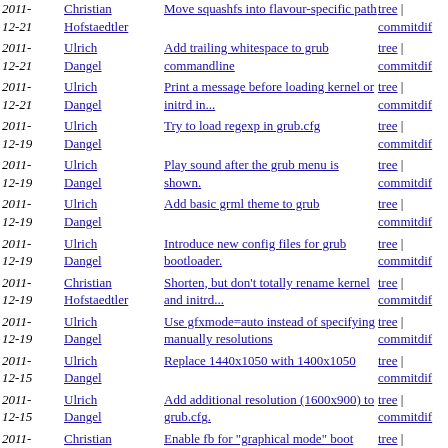2011-12-21 Christian Hofstaedtler | Move squashfs into flavour-specific path | tree | commitdif
2011-12-21 Ulrich Dangel | Add trailing whitespace to grub commandline | tree | commitdif
2011-12-21 Ulrich Dangel | Print a message before loading kernel or initrd in... | tree | commitdif
2011-12-19 Ulrich Dangel | Try to load regexp in grub.cfg | tree | commitdif
2011-12-19 Ulrich Dangel | Play sound after the grub menu is shown. | tree | commitdif
2011-12-19 Ulrich Dangel | Add basic grml theme to grub | tree | commitdif
2011-12-19 Ulrich Dangel | Introduce new config files for grub bootloader. | tree | commitdif
2011-12-19 Christian Hofstaedtler | Shorten, but don't totally rename kernel and initrd... | tree | commitdif
2011-12-19 Ulrich Dangel | Use gfxmode=auto instead of specifying manually resolutions | tree | commitdif
2011-12-15 Ulrich Dangel | Replace 1440x1050 with 1400x1050 | tree | commitdif
2011-12-15 Ulrich Dangel | Add additional resolution (1600x900) to grub.cfg. | tree | commitdif
2011- Christian | Enable fb for "graphical mode" boot | tree |